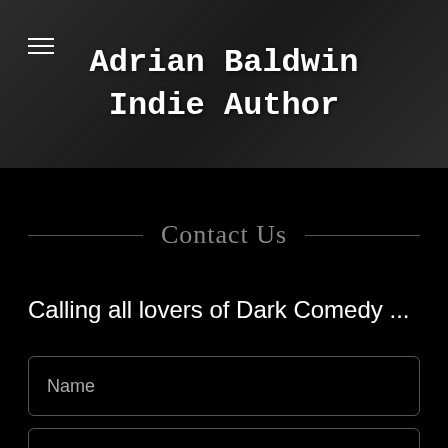Adrian Baldwin Indie Author
Contact Us
Calling all lovers of Dark Comedy ...
Name
Email*